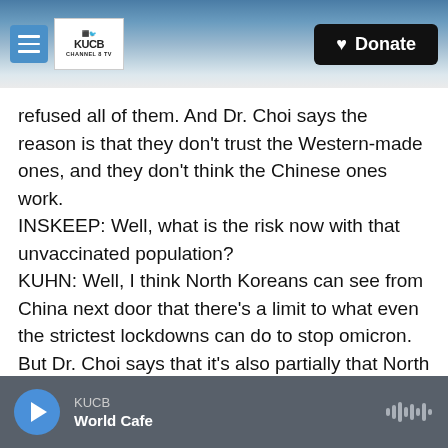KUCB Channel 8 TV — Donate
refused all of them. And Dr. Choi says the reason is that they don't trust the Western-made ones, and they don't think the Chinese ones work.
INSKEEP: Well, what is the risk now with that unvaccinated population?
KUHN: Well, I think North Koreans can see from China next door that there's a limit to what even the strictest lockdowns can do to stop omicron. But Dr. Choi says that it's also partially that North Koreans see the threat of COVID differently. Let's hear what he told me.
KUCB — World Cafe